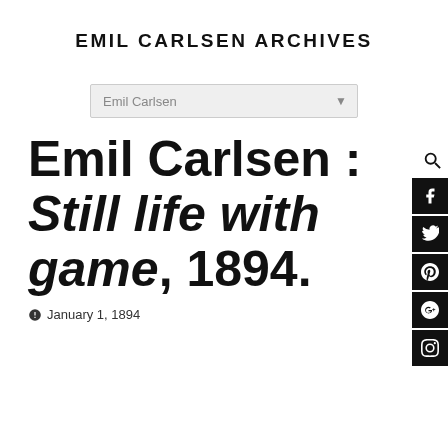EMIL CARLSEN ARCHIVES
Emil Carlsen
Emil Carlsen : Still life with game, 1894.
January 1, 1894